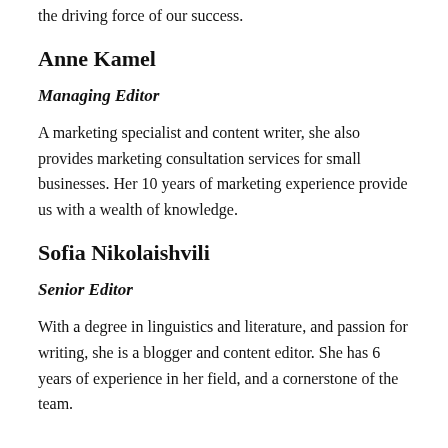the driving force of our success.
Anne Kamel
Managing Editor
A marketing specialist and content writer, she also provides marketing consultation services for small businesses. Her 10 years of marketing experience provide us with a wealth of knowledge.
Sofia Nikolaishvili
Senior Editor
With a degree in linguistics and literature, and passion for writing, she is a blogger and content editor. She has 6 years of experience in her field, and a cornerstone of the team.